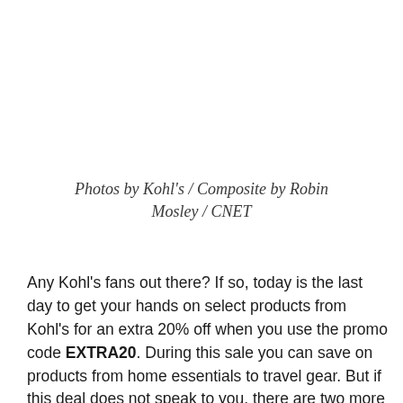Photos by Kohl's / Composite by Robin Mosley / CNET
Any Kohl's fans out there? If so, today is the last day to get your hands on select products from Kohl's for an extra 20% off when you use the promo code EXTRA20. During this sale you can save on products from home essentials to travel gear. But if this deal does not speak to you, there are two more that might. One deal is exclusively for babies: Until Feb. 27save up to 50% off Carter's clothing, up to 20% off for baby gear and